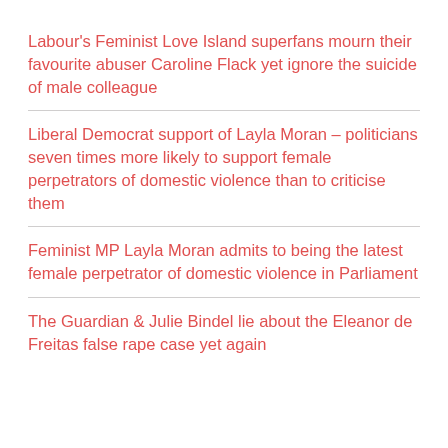Labour's Feminist Love Island superfans mourn their favourite abuser Caroline Flack yet ignore the suicide of male colleague
Liberal Democrat support of Layla Moran – politicians seven times more likely to support female perpetrators of domestic violence than to criticise them
Feminist MP Layla Moran admits to being the latest female perpetrator of domestic violence in Parliament
The Guardian & Julie Bindel lie about the Eleanor de Freitas false rape case yet again